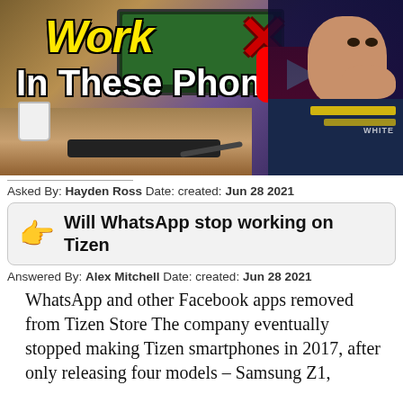[Figure (screenshot): YouTube thumbnail showing text 'Work' in yellow, 'In These Phon[es]' in white, a red X, YouTube play button, a person with hand over mouth wearing dark shirt, desk with mug and tablet in background]
Asked By: Hayden Ross Date: created: Jun 28 2021
Will WhatsApp stop working on Tizen
Answered By: Alex Mitchell Date: created: Jun 28 2021
WhatsApp and other Facebook apps removed from Tizen Store The company eventually stopped making Tizen smartphones in 2017, after only releasing four models – Samsung Z1,